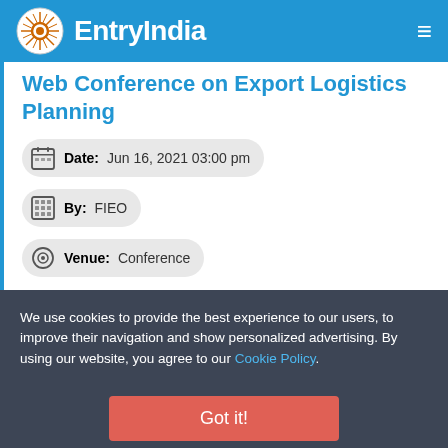EntryIndia
Web Conference on Export Logistics Planning
Date: Jun 16, 2021 03:00 pm
By: FIEO
Venue: Conference
We use cookies to provide the best experience to our users, to improve their navigation and show personalized advertising. By using our website, you agree to our Cookie Policy.
Got it!